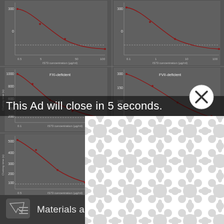[Figure (continuous-plot): Six scientific plots arranged in a 3x2 grid showing clotting time (s) vs I573 concentration (μg/ml) curves for different factor-deficient plasma conditions. Plots labeled FXI-deficient, FVII-deficient, and others. Dark background, dark red/maroon descending curves with data points, dashed horizontal reference lines. Y-axes show clotting time in seconds, X-axes show IS73 concentration on log scale.]
[Figure (screenshot): Ad overlay on scientific paper screenshot: white rectangular ad box with decorative bubble/circle pattern (light gray circles on white), covering most of the chart area. Shows 'This Ad will close in 5 seconds.' text banner in semi-transparent dark overlay across top of ad. Circle X close button in top-right area of ad.]
This Ad will close in 5 seconds.
Materials and methods